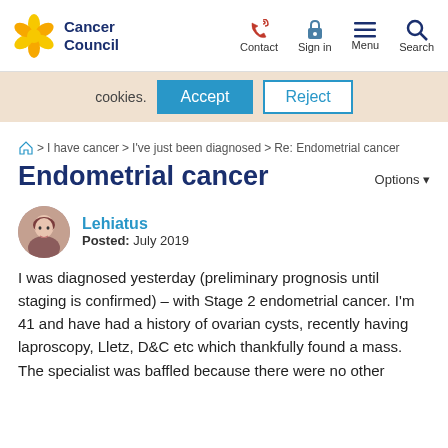[Figure (logo): Cancer Council logo with yellow flower and dark blue text]
Contact  Sign in  Menu  Search
cookies.  Accept  Reject
⌂ > I have cancer > I've just been diagnosed > Re: Endometrial cancer
Endometrial cancer
Options ▾
[Figure (photo): Circular avatar photo of user Lehiatus]
Lehiatus
Posted: July 2019
I was diagnosed yesterday (preliminary prognosis until staging is confirmed) – with Stage 2 endometrial cancer. I'm 41 and have had a history of ovarian cysts, recently having laproscopy, Lletz, D&C etc which thankfully found a mass. The specialist was baffled because there were no other